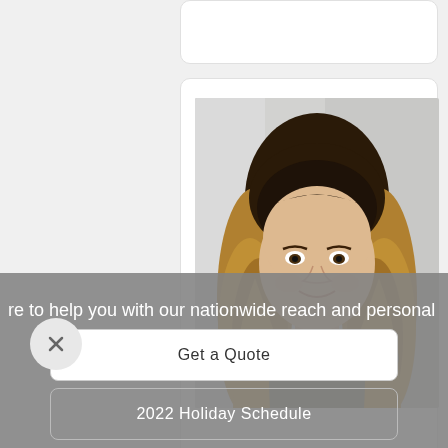[Figure (photo): Portrait photo of a young woman with long blonde wavy hair and dark roots, smiling, wearing a grey/olive top, against a light grey background.]
re to help you with our nationwide reach and personal
Get a Quote
2022 Holiday Schedule